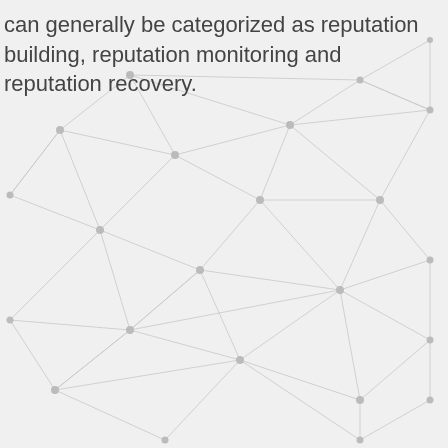can generally be categorized as reputation building, reputation monitoring and reputation recovery.
[Figure (network-graph): A decorative network graph background with nodes (small grey circles) connected by thin grey lines forming a triangulated mesh pattern, covering most of the page.]